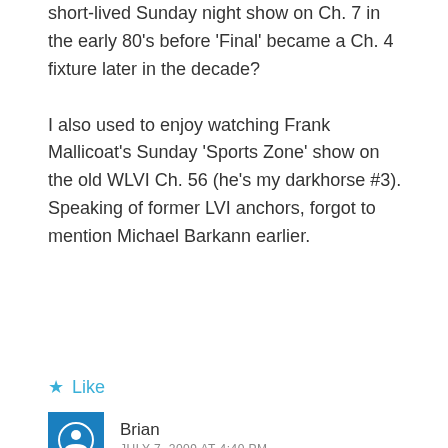short-lived Sunday night show on Ch. 7 in the early 80's before 'Final' became a Ch. 4 fixture later in the decade?

I also used to enjoy watching Frank Mallicoat's Sunday 'Sports Zone' show on the old WLVI Ch. 56 (he's my darkhorse #3). Speaking of former LVI anchors, forgot to mention Michael Barkann earlier.
Like
Brian
JULY 7, 2009 AT 4:40 PM